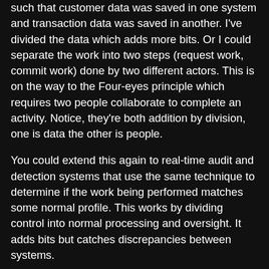such that customer data was saved in one system and transaction data was saved in another. I've divided the data which adds more bits. Or I could separate the work into two steps (request work, commit work) done by two different actors. This is on the way to the Four-eyes principle which requires two people collaborate to complete an activity. Notice, they're both addition by division, one is data the other is people.
You could extend this again to real-time audit and detection systems that use the same technique to determine if the work being performed matches some normal profile. This works by dividing control into normal processing and oversight. It adds bits but catches discrepancies between systems.
In the end, it's easy to throw more encryption and say that it will fix any security vulnerabilities that might exist. In reality, unless the number of bits involved doesn't change, you're just pushing the vegetables around the plate. You can add factors to reduce entry vulnerabilities, or use addition by division to increase the number of bits and change your overall vulnerability profile.